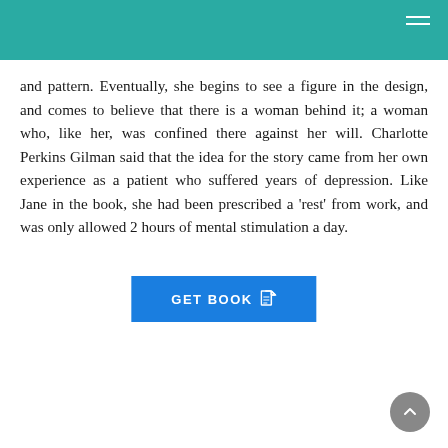and pattern. Eventually, she begins to see a figure in the design, and comes to believe that there is a woman behind it; a woman who, like her, was confined there against her will. Charlotte Perkins Gilman said that the idea for the story came from her own experience as a patient who suffered years of depression. Like Jane in the book, she had been prescribed a 'rest' from work, and was only allowed 2 hours of mental stimulation a day.
[Figure (other): GET BOOK button with document icon]
[Figure (other): Scroll to top circular button with upward chevron arrow]